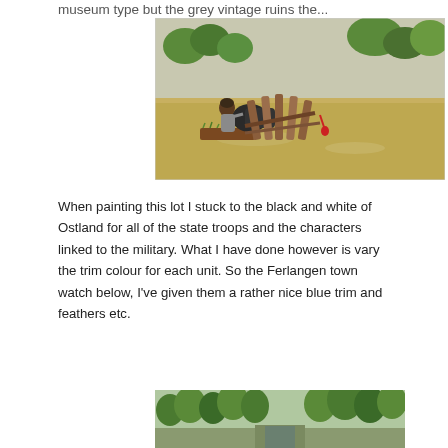...museum type but the grey vintage ruins the...
[Figure (photo): A painted tabletop wargaming miniature of a Warhammer-style organ gun or multi-barrel cannon on a base, with a small figure operating it, set against a sandy/grassy terrain background.]
When painting this lot I stuck to the black and white of Ostland for all of the state troops and the characters linked to the military. What I have done however is vary the trim colour for each unit. So the Ferlangen town watch below, I've given them a rather nice blue trim and feathers etc.
[Figure (photo): A tabletop wargaming scene showing miniature troops or terrain with green trees in the background, partially visible at the bottom of the page.]